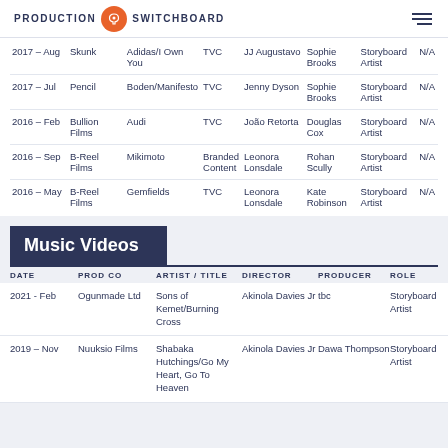PRODUCTION SWITCHBOARD
| DATE | PROD CO | PROJECT | TYPE | DIRECTOR | PRODUCER | ROLE |  |
| --- | --- | --- | --- | --- | --- | --- | --- |
| 2017 – Aug | Skunk | Adidas/I Own You | TVC | JJ Augustavo | Sophie Brooks | Storyboard Artist | N/A |
| 2017 – Jul | Pencil | Boden/Manifesto | TVC | Jenny Dyson | Sophie Brooks | Storyboard Artist | N/A |
| 2016 – Feb | Bullion Films | Audi | TVC | João Retorta | Douglas Cox | Storyboard Artist | N/A |
| 2016 – Sep | B-Reel Films | Mikimoto | Branded Content | Leonora Lonsdale | Rohan Scully | Storyboard Artist | N/A |
| 2016 – May | B-Reel Films | Gemfields | TVC | Leonora Lonsdale | Kate Robinson | Storyboard Artist | N/A |
Music Videos
| DATE | PROD CO | ARTIST / TITLE | DIRECTOR | PRODUCER | ROLE |
| --- | --- | --- | --- | --- | --- |
| 2021 - Feb | Ogunmade Ltd | Sons of Kemet/Burning Cross | Akinola Davies Jr | tbc | Storyboard Artist |
| 2019 – Nov | Nuuksio Films | Shabaka Hutchings/Go My Heart, Go To Heaven | Akinola Davies Jr | Dawa Thompson | Storyboard Artist |